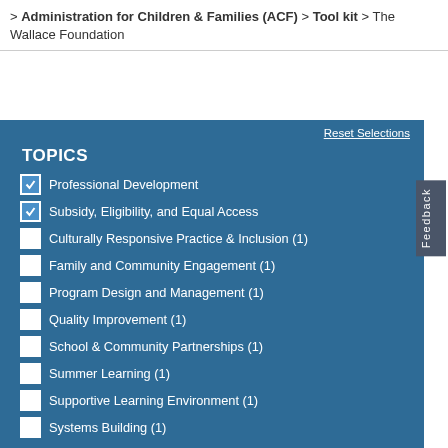> Administration for Children & Families (ACF) > Tool kit > The Wallace Foundation
Reset Selections
TOPICS
Professional Development
Subsidy, Eligibility, and Equal Access
Culturally Responsive Practice & Inclusion (1)
Family and Community Engagement (1)
Program Design and Management (1)
Quality Improvement (1)
School & Community Partnerships (1)
Summer Learning (1)
Supportive Learning Environment (1)
Systems Building (1)
RESOURCE TYPE